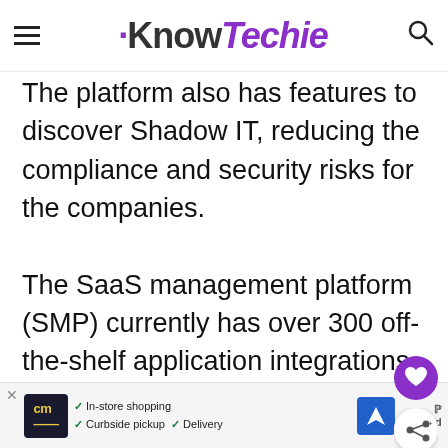KnowTechie
The platform also has features to discover Shadow IT, reducing the compliance and security risks for the companies.

The SaaS management platform (SMP) currently has over 300 off-the-shelf application integrations to get useful insights. To work at its total capacity, it's important to evaluate and understand
[Figure (other): Purple circular like/heart button (FAB) on right side of page]
[Figure (other): White circular share button (FAB) on right side of page]
[Figure (other): Advertisement banner at bottom: CM logo, In-store shopping, Curbside pickup, Delivery checkmarks, navigation icon]